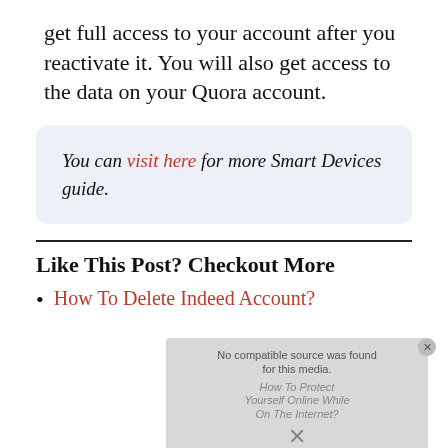get full access to your account after you reactivate it. You will also get access to the data on your Quora account.
You can visit here for more Smart Devices guide.
Like This Post? Checkout More
How To Delete Indeed Account?
[Figure (screenshot): Video player overlay showing 'No compatible source was found for this media.' with ghosted text 'How To Protect Yourself Online While On The Internet?' and an X button]